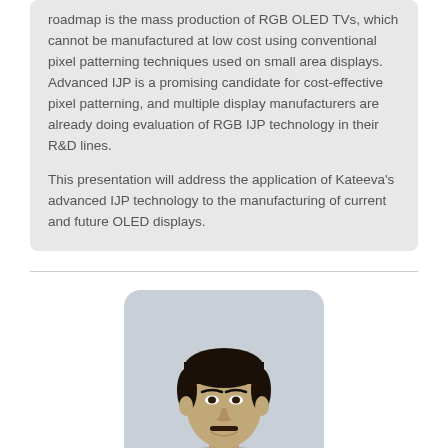roadmap is the mass production of RGB OLED TVs, which cannot be manufactured at low cost using conventional pixel patterning techniques used on small area displays. Advanced IJP is a promising candidate for cost-effective pixel patterning, and multiple display manufacturers are already doing evaluation of RGB IJP technology in their R&D lines.

This presentation will address the application of Kateeva's advanced IJP technology to the manufacturing of current and future OLED displays.
[Figure (photo): Headshot photo of an Asian man with dark hair, wearing a light blue collared shirt, against a light background.]